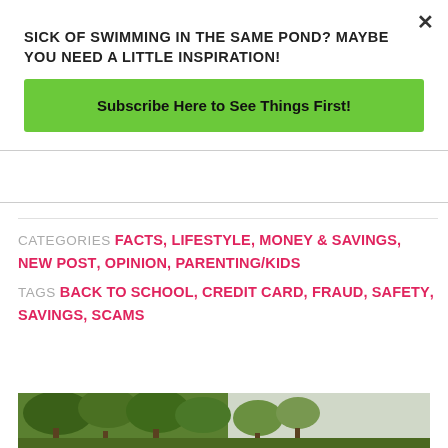SICK OF SWIMMING IN THE SAME POND? MAYBE YOU NEED A LITTLE INSPIRATION!
Subscribe Here to See Things First!
CATEGORIES FACTS, LIFESTYLE, MONEY & SAVINGS, NEW POST, OPINION, PARENTING/KIDS
TAGS BACK TO SCHOOL, CREDIT CARD, FRAUD, SAFETY, SAVINGS, SCAMS
[Figure (photo): Outdoor photo showing trees with green foliage against a light sky background]